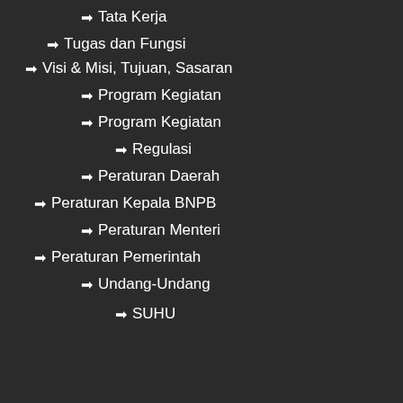Tata Kerja
Tugas dan Fungsi
Visi & Misi, Tujuan, Sasaran
Program Kegiatan
Program Kegiatan
Regulasi
Peraturan Daerah
Peraturan Kepala BNPB
Peraturan Menteri
Peraturan Pemerintah
Undang-Undang
SUHU